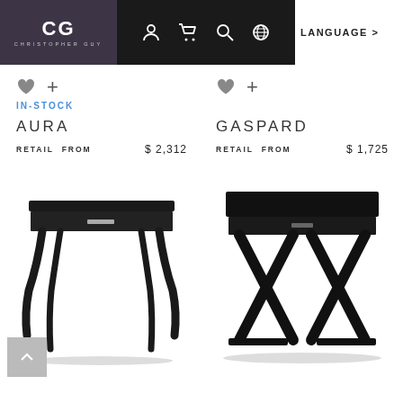CG CHRISTOPHER GUY navigation bar with icons and LANGUAGE
IN-STOCK
AURA
RETAIL FROM  $ 2,312
GASPARD
RETAIL FROM  $ 1,725
[Figure (photo): Black lacquered console table with curved cabriole legs and a single drawer with silver hardware - AURA]
[Figure (photo): Black lacquered side table with X-frame cross legs and a single drawer with small hardware - GASPARD]